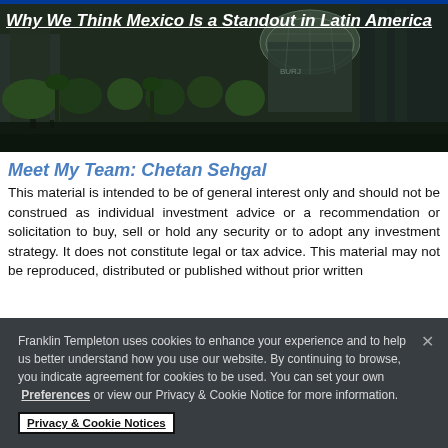[Figure (photo): Aerial/street view of a modern building with a glass dome structure surrounded by trees in Mexico City. Dark-toned photograph used as article hero image.]
Why We Think Mexico Is a Standout in Latin America
Meet My Team: Chetan Sehgal
This material is intended to be of general interest only and should not be construed as individual investment advice or a recommendation or solicitation to buy, sell or hold any security or to adopt any investment strategy. It does not constitute legal or tax advice. This material may not be reproduced, distributed or published without prior written
Franklin Templeton uses cookies to enhance your experience and to help us better understand how you use our website. By continuing to browse, you indicate agreement for cookies to be used. You can set your own Preferences or view our Privacy & Cookie Notice for more information.
Privacy & Cookie Notices